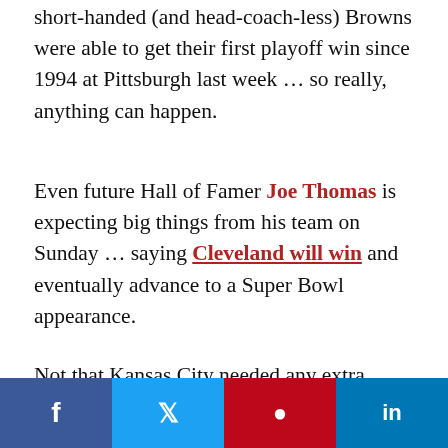short-handed (and head-coach-less) Browns were able to get their first playoff win since 1994 at Pittsburgh last week … so really, anything can happen.
Even future Hall of Famer Joe Thomas is expecting big things from his team on Sunday … saying Cleveland will win and eventually advance to a Super Bowl appearance.
Not that Kansas City needed any extra motivation, but they may have just gotten some.
This article was originally published by Tmz.com. Read the original article here.
[Figure (infographic): Social sharing buttons: Facebook (blue), Twitter (light blue), Pinterest (red), LinkedIn (dark blue)]